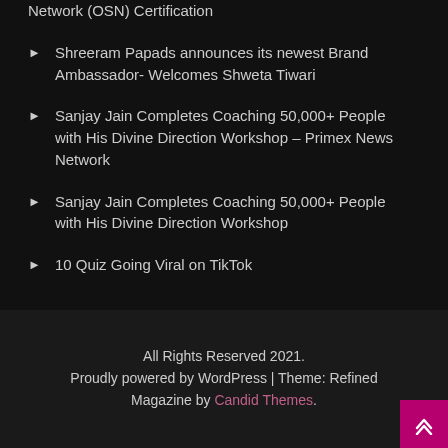Network (OSN) Certification
Shreeram Papads announces its newest Brand Ambassador- Welcomes Shweta Tiwari
Sanjay Jain Completes Coaching 50,000+ People with His Divine Direction Workshop – Primex News Network
Sanjay Jain Completes Coaching 50,000+ People with His Divine Direction Workshop
10 Quiz Going Viral on TikTok
All Rights Reserved 2021. Proudly powered by WordPress | Theme: Refined Magazine by Candid Themes.